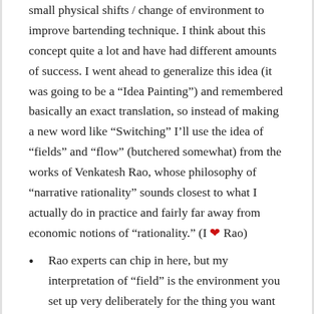small physical shifts / change of environment to improve bartending technique. I think about this concept quite a lot and have had different amounts of success. I went ahead to generalize this idea (it was going to be a “Idea Painting”) and remembered basically an exact translation, so instead of making a new word like “Switching” I’ll use the idea of “fields” and “flow” (butchered somewhat) from the works of Venkatesh Rao, whose philosophy of “narrative rationality” sounds closest to what I actually do in practice and fairly far away from economic notions of “rationality.” (I ❤ Rao)
Rao experts can chip in here, but my interpretation of “field” is the environment you set up very deliberately for the thing you want to work in, and then “flow” is the natural usage of the “field” induced by the little nudges that your field sets